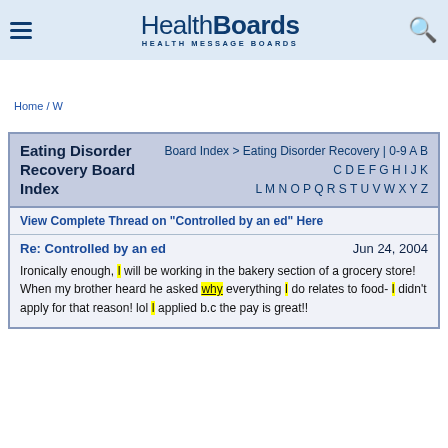HealthBoards HEALTH MESSAGE BOARDS
Home / W
Eating Disorder Recovery Board Index
Board Index > Eating Disorder Recovery | 0-9 A B C D E F G H I J K L M N O P Q R S T U V W X Y Z
View Complete Thread on "Controlled by an ed" Here
Re: Controlled by an ed
Jun 24, 2004
Ironically enough, I will be working in the bakery section of a grocery store! When my brother heard he asked why everything I do relates to food- I didn't apply for that reason! lol I applied b.c the pay is great!!